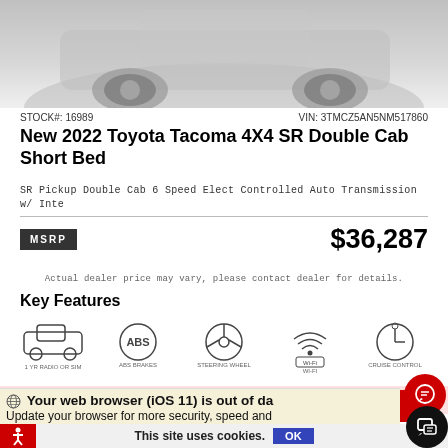[Figure (photo): Partial view of a vehicle (Toyota Tacoma) from above, showing rear portion against grey gradient background]
STOCK#: 16989	VIN: 3TMCZ5AN5NM517860
New 2022 Toyota Tacoma 4X4 SR Double Cab Short Bed
SR Pickup Double Cab 6 Speed Elect Controlled Auto Transmission w/ Inte
MSRP	$36,287
Actual dealer price may vary, please contact dealer for details.
Key Features
[Figure (illustration): Five key feature icons: vehicle (1 yr radio or sim), ABS brakes, steering wheel (Tacoma Crew), WiFi, cruise control]
BUY FROM HOME
Your web browser (iOS 11) is out of da…
Update your browser for more security, speed and
This site uses cookies.
OK